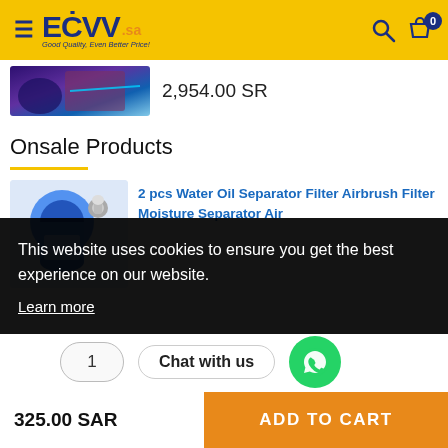ECVV.sa — Good Quality, Even Better Price!
2,954.00 SR
Onsale Products
2 pcs Water Oil Separator Filter Airbrush Filter Moisture Separator Air
This website uses cookies to ensure you get the best experience on our website. Learn more
1
Chat with us
325.00 SAR
ADD TO CART